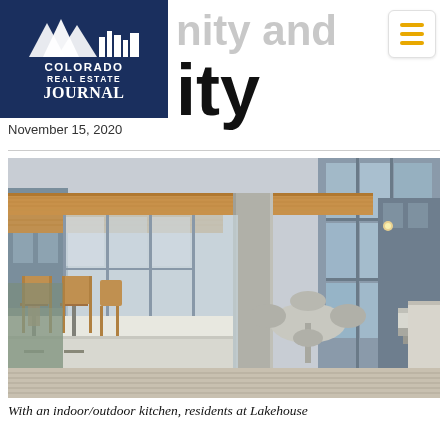[Figure (logo): Colorado Real Estate Journal logo — white mountains and city skyline silhouette on dark navy background, with text COLORADO REAL ESTATE JOURNAL]
…unity and …ity
November 15, 2020
[Figure (photo): Outdoor terrace/patio of the Lakehouse residential building showing an indoor/outdoor kitchen area with wooden bar stools along a white counter, concrete columns supporting a wood-paneled overhang, floor-to-ceiling glass windows of the building, and modern outdoor lounge furniture on a wood deck]
With an indoor/outdoor kitchen, residents at Lakehouse